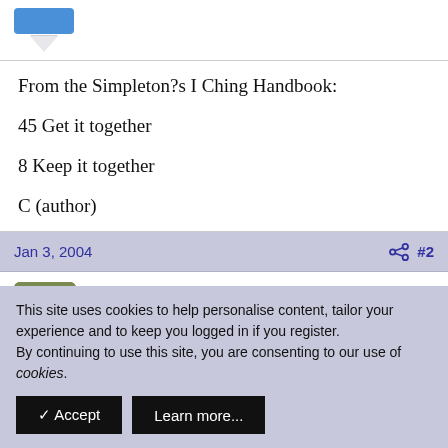From the Simpleton?s I Ching Handbook:
45 Get it together
8 Keep it together
C (author)
Jan 3, 2004   #2
cal val
This site uses cookies to help personalise content, tailor your experience and to keep you logged in if you register.
By continuing to use this site, you are consenting to our use of cookies.